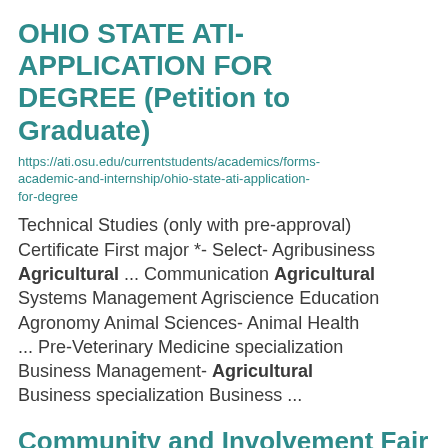OHIO STATE ATI- APPLICATION FOR DEGREE (Petition to Graduate)
https://ati.osu.edu/currentstudents/academics/forms-academic-and-internship/ohio-state-ati-application-for-degree
Technical Studies (only with pre-approval)
Certificate First major *- Select- Agribusiness Agricultural ... Communication Agricultural Systems Management Agriscience Education Agronomy Animal Sciences- Animal Health ... Pre-Veterinary Medicine specialization Business Management- Agricultural Business specialization Business ...
Community and Involvement Fair